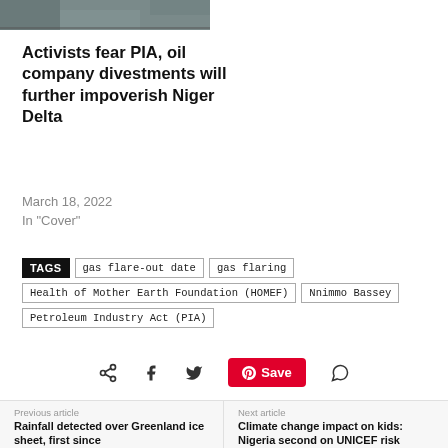[Figure (photo): Partial photo visible at top of page showing people at a desk/table]
Activists fear PIA, oil company divestments will further impoverish Niger Delta
March 18, 2022
In "Cover"
TAGS  gas flare-out date  gas flaring  Health of Mother Earth Foundation (HOMEF)  Nnimmo Bassey  Petroleum Industry Act (PIA)
[Figure (infographic): Social share icons: share, facebook, twitter, Pinterest Save button, whatsapp]
Previous article
Rainfall detected over Greenland ice sheet, first since
Next article
Climate change impact on kids: Nigeria second on UNICEF risk